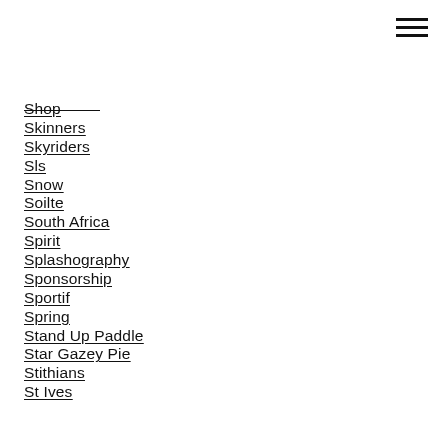— (menu icon / hamburger)
Shop
Skinners
Skyriders
Sls
Snow
Soilte
South Africa
Spirit
Splashography
Sponsorship
Sportif
Spring
Stand Up Paddle
Star Gazey Pie
Stithians
St Ives